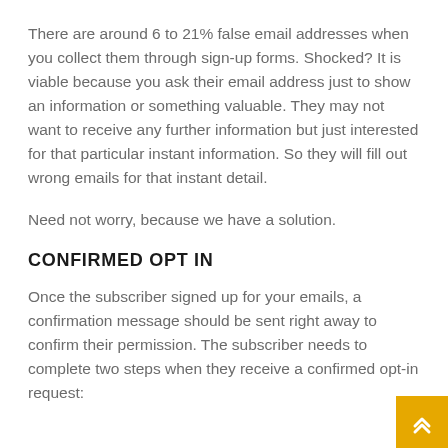There are around 6 to 21% false email addresses when you collect them through sign-up forms. Shocked? It is viable because you ask their email address just to show an information or something valuable. They may not want to receive any further information but just interested for that particular instant information. So they will fill out wrong emails for that instant detail.
Need not worry, because we have a solution.
CONFIRMED OPT IN
Once the subscriber signed up for your emails, a confirmation message should be sent right away to confirm their permission. The subscriber needs to complete two steps when they receive a confirmed opt-in request: